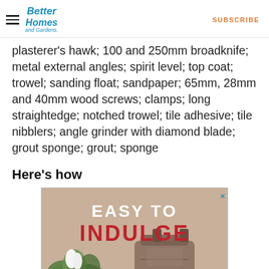Better Homes and Gardens | SUBSCRIBE
plasterer's hawk; 100 and 250mm broadknife; metal external angles; spirit level; top coat; trowel; sanding float; sandpaper; 65mm, 28mm and 40mm wood screws; clamps; long straightedge; notched trowel; tile adhesive; tile nibblers; angle grinder with diamond blade; grout sponge; grout; sponge
Here's how
[Figure (photo): Advertisement banner reading 'EASY TO INDULGE' with plant and handbag imagery on a tan background]